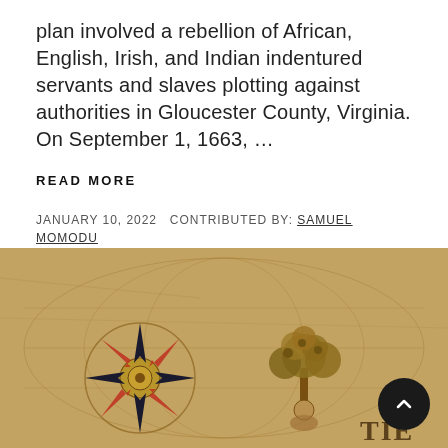plan involved a rebellion of African, English, Irish, and Indian indentured servants and slaves plotting against authorities in Gloucester County, Virginia. On September 1, 1663, …
READ MORE
JANUARY 10, 2022  CONTRIBUTED BY: SAMUEL MOMODU
[Figure (illustration): Vintage antique map illustration showing a compass rose with red and black directional arrows, decorative plant/tree motifs, and partial text 'TIE' visible in bottom right corner. Warm golden-brown aged parchment background.]